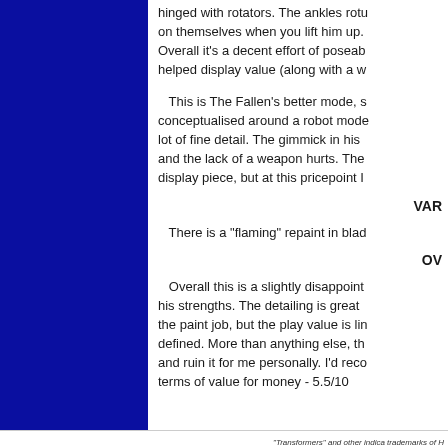hinged with rotators. The ankles rotate on themselves when you lift him up. Overall it's a decent effort of poseability, helped display value (along with a w...
This is The Fallen's better mode, s... conceptualised around a robot mode... lot of fine detail. The gimmick in his... and the lack of a weapon hurts. The... display piece, but at this pricepoint I...
VAR...
There is a "flaming" repaint in blac...
OV...
Overall this is a slightly disappointing... his strengths. The detailing is great... the paint job, but the play value is limited... defined. More than anything else, th... and ruin it for me personally. I'd reco... terms of value for money - 5.5/10
"Transformers" and other indica trademarks of H...